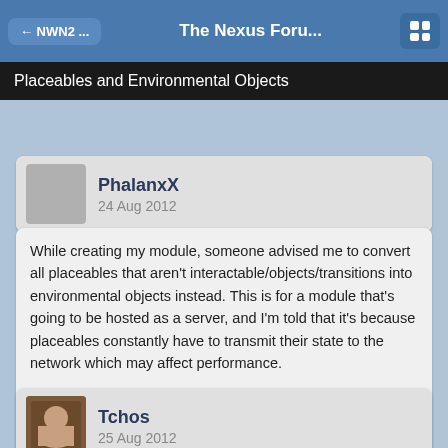← NWN2 ...   The Nexus Foru...   [grid icon]
Placeables and Environmental Objects
PhalanxX
24 Aug 2012
While creating my module, someone advised me to convert all placeables that aren't interactable/objects/transitions into environmental objects instead. This is for a module that's going to be hosted as a server, and I'm told that it's because placeables constantly have to transmit their state to the network which may affect performance.

Is this true? Will converting my placeables into environmental objects help optimize performance on a server module?
Tchos
25 Aug 2012
I haven't seen anyone say what you're describing, but my experience